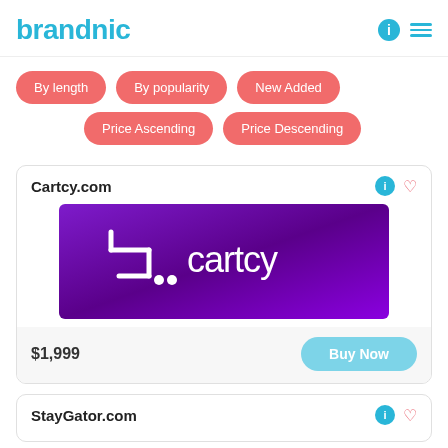brandnic
By length
By popularity
New Added
Price Ascending
Price Descending
Cartcy.com
[Figure (logo): Cartcy brand logo on purple gradient background with shopping cart icon and 'cartcy' text in white]
$1,999
Buy Now
StayGator.com